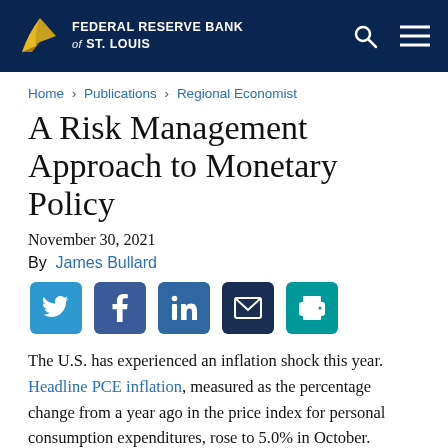Federal Reserve Bank of St. Louis
Home > Publications > Regional Economist
A Risk Management Approach to Monetary Policy
November 30, 2021
By James Bullard
[Figure (infographic): Social share buttons: Twitter, Facebook, LinkedIn, Email, Print]
The U.S. has experienced an inflation shock this year. Headline PCE inflation, measured as the percentage change from a year ago in the price index for personal consumption expenditures, rose to 5.0% in October.